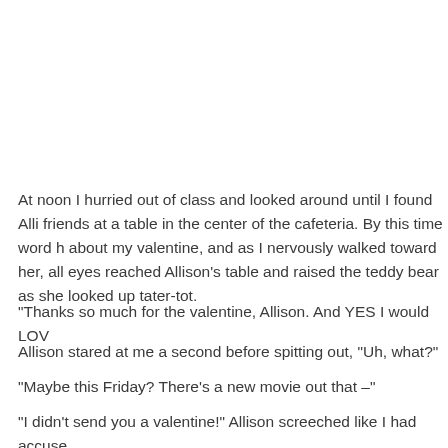At noon I hurried out of class and looked around until I found Alli friends at a table in the center of the cafeteria. By this time word h about my valentine, and as I nervously walked toward her, all eyes reached Allison's table and raised the teddy bear as she looked up tater-tot.
“Thanks so much for the valentine, Allison. And YES I would LOV
Allison stared at me a second before spitting out, “Uh, what?”
“Maybe this Friday? There’s a new movie out that –”
“I didn’t send you a valentine!” Allison screeched like I had accuse